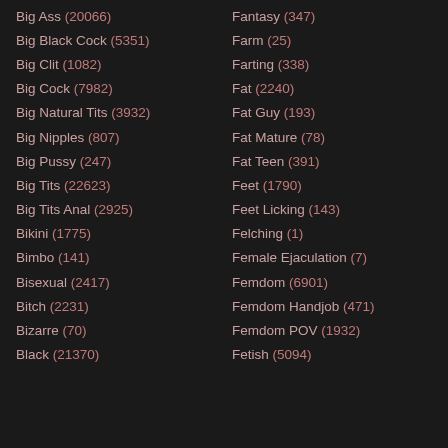Big Ass (20066)
Big Black Cock (5351)
Big Clit (1082)
Big Cock (7982)
Big Natural Tits (3932)
Big Nipples (807)
Big Pussy (247)
Big Tits (22623)
Big Tits Anal (2925)
Bikini (1775)
Bimbo (141)
Bisexual (2417)
Bitch (2231)
Bizarre (70)
Black (21370)
Fantasy (347)
Farm (25)
Farting (338)
Fat (2240)
Fat Guy (193)
Fat Mature (78)
Fat Teen (391)
Feet (1790)
Feet Licking (143)
Felching (1)
Female Ejaculation (7)
Femdom (6901)
Femdom Handjob (471)
Femdom POV (1932)
Fetish (5094)